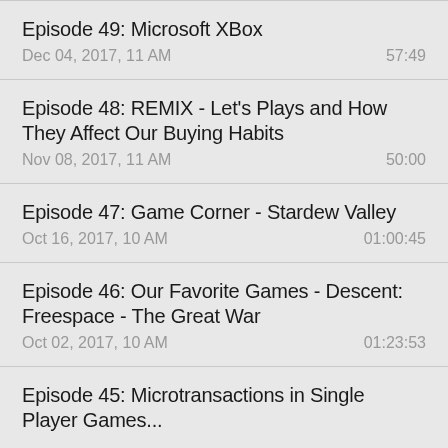Episode 49: Microsoft XBox
Dec 04, 2017, 11 AM	57:49
Episode 48: REMIX - Let's Plays and How They Affect Our Buying Habits
Nov 08, 2017, 11 AM	50:00
Episode 47: Game Corner - Stardew Valley
Oct 16, 2017, 10 AM	01:00:45
Episode 46: Our Favorite Games - Descent: Freespace - The Great War
Oct 02, 2017, 10 AM	01:23:53
Episode 45: Microtransactions in Single Player Games...